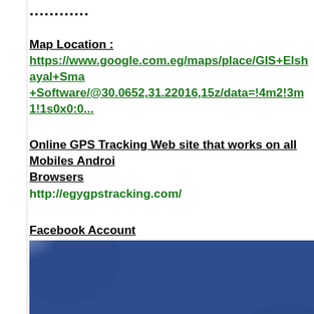...........
Map Location :
https://www.google.com.eg/maps/place/GIS+Elshayal+Sma+Software/@30.0652,31.22016,15z/data=!4m2!3m1!1s0x0:0...
Online GPS Tracking Web site that works on all Mobiles Android Browsers
http://egygpstracking.com/
Facebook Account
[Figure (screenshot): Facebook page screenshot showing a blue background with a white Facebook logo/icon partially visible in the lower right corner]